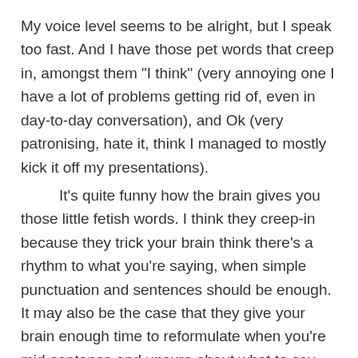My voice level seems to be alright, but I speak too fast. And I have those pet words that creep in, amongst them "I think" (very annoying one I have a lot of problems getting rid of, even in day-to-day conversation), and Ok (very patronising, hate it, think I managed to mostly kick it off my presentations).
        It's quite funny how the brain gives you those little fetish words. I think they creep-in because they trick your brain think there's a rhythm to what you're saying, when simple punctuation and sentences should be enough. It may also be the case that they give your brain enough time to reformulate when you're mid-sentence and unsure about what to say next. Again, preparation is the key.